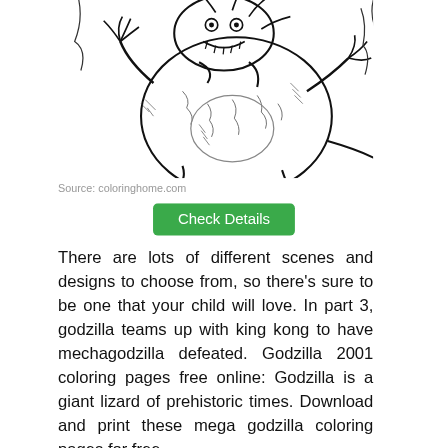[Figure (illustration): Black and white line drawing illustration of Godzilla (large monster), partially cropped, showing upper body with claws raised]
Source: coloringhome.com
Check Details
There are lots of different scenes and designs to choose from, so there’s sure to be one that your child will love. In part 3, godzilla teams up with king kong to have mechagodzilla defeated. Godzilla 2001 coloring pages free online: Godzilla is a giant lizard of prehistoric times. Download and print these mega godzilla coloring pages for free.